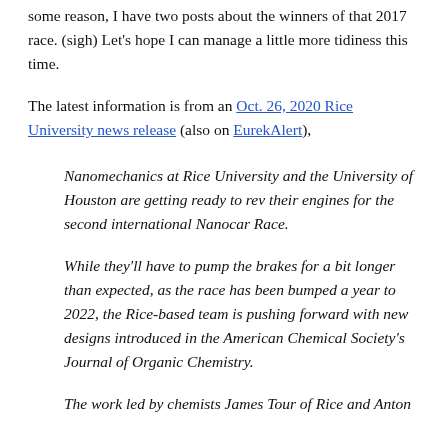some reason, I have two posts about the winners of that 2017 race. (sigh) Let's hope I can manage a little more tidiness this time.
The latest information is from an Oct. 26, 2020 Rice University news release (also on EurekAlert),
Nanomechanics at Rice University and the University of Houston are getting ready to rev their engines for the second international Nanocar Race.
While they'll have to pump the brakes for a bit longer than expected, as the race has been bumped a year to 2022, the Rice-based team is pushing forward with new designs introduced in the American Chemical Society's Journal of Organic Chemistry.
The work led by chemists James Tour of Rice and Anton